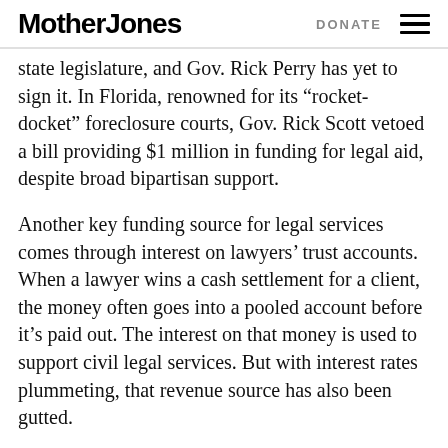Mother Jones | DONATE
state legislature, and Gov. Rick Perry has yet to sign it. In Florida, renowned for its “rocket-docket” foreclosure courts, Gov. Rick Scott vetoed a bill providing $1 million in funding for legal aid, despite broad bipartisan support.
Another key funding source for legal services comes through interest on lawyers’ trust accounts. When a lawyer wins a cash settlement for a client, the money often goes into a pooled account before it’s paid out. The interest on that money is used to support civil legal services. But with interest rates plummeting, that revenue source has also been gutted.